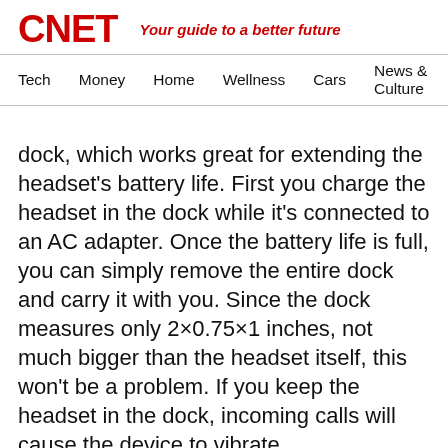CNET — Your guide to a better future
Tech   Money   Home   Wellness   Cars   News & Culture
dock, which works great for extending the headset's battery life. First you charge the headset in the dock while it's connected to an AC adapter. Once the battery life is full, you can simply remove the entire dock and carry it with you. Since the dock measures only 2×0.75×1 inches, not much bigger than the headset itself, this won't be a problem. If you keep the headset in the dock, incoming calls will cause the device to vibrate.
We paired the BT400GL with a T-Mobile Sidekick 2, and the process was smooth and